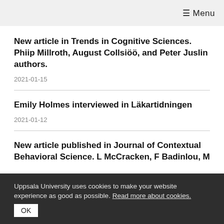☰ Menu
New article in Trends in Cognitive Sciences. Phiip Millroth, August Collsiöö, and Peter Juslin authors.
2021-01-15
Emily Holmes interviewed in Läkartidningen
2021-01-12
New article published in Journal of Contextual Behavioral Science. L McCracken, F Badinlou, M
Uppsala University uses cookies to make your website experience as good as possible. Read more about cookies. OK